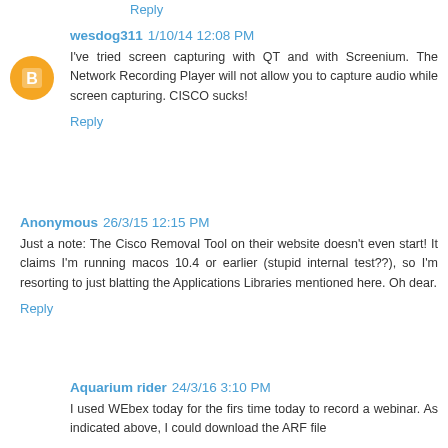Reply
wesdog311  1/10/14 12:08 PM
I've tried screen capturing with QT and with Screenium. The Network Recording Player will not allow you to capture audio while screen capturing. CISCO sucks!
Reply
Anonymous  26/3/15 12:15 PM
Just a note: The Cisco Removal Tool on their website doesn't even start! It claims I'm running macos 10.4 or earlier (stupid internal test??), so I'm resorting to just blatting the Applications Libraries mentioned here. Oh dear.
Reply
Aquarium rider  24/3/16 3:10 PM
I used WEbex today for the firs time today to record a webinar. As indicated above, I could download the ARF file